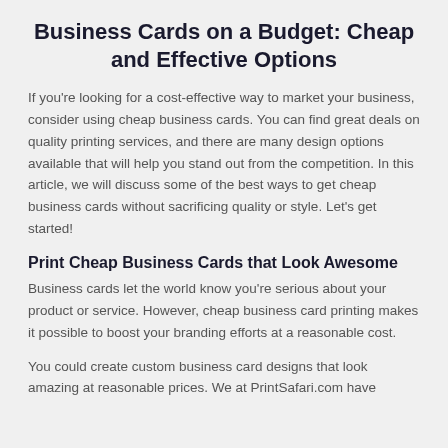Business Cards on a Budget: Cheap and Effective Options
If you're looking for a cost-effective way to market your business, consider using cheap business cards. You can find great deals on quality printing services, and there are many design options available that will help you stand out from the competition. In this article, we will discuss some of the best ways to get cheap business cards without sacrificing quality or style. Let's get started!
Print Cheap Business Cards that Look Awesome
Business cards let the world know you're serious about your product or service. However, cheap business card printing makes it possible to boost your branding efforts at a reasonable cost.
You could create custom business card designs that look amazing at reasonable prices. We at PrintSafari.com have